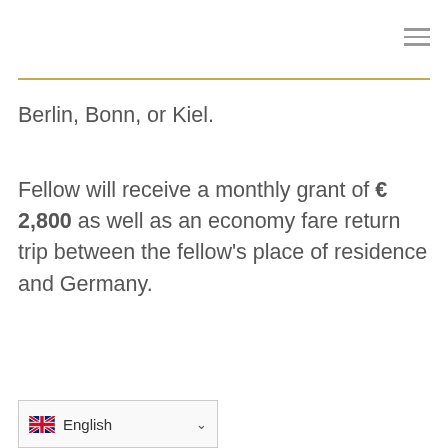Berlin, Bonn, or Kiel.
Fellow will receive a monthly grant of € 2,800 as well as an economy fare return trip between the fellow's place of residence and Germany.
English